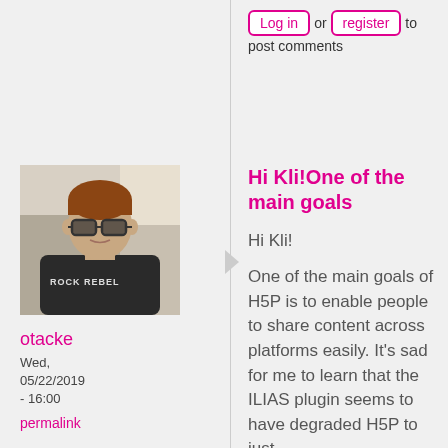Log in or register to post comments
[Figure (photo): Profile photo of user otacke: a man wearing sunglasses and a dark t-shirt]
otacke
Wed, 05/22/2019 - 16:00
permalink
Hi Kli!One of the main goals
Hi Kli!
One of the main goals of H5P is to enable people to share content across platforms easily. It's sad for me to learn that the ILIAS plugin seems to have degraded H5P to just